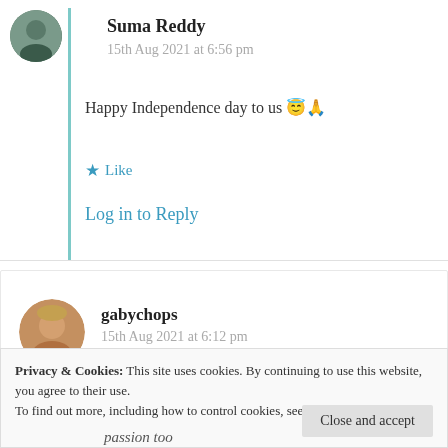Suma Reddy
15th Aug 2021 at 6:56 pm
Happy Independence day to us 😇🙏
★ Like
Log in to Reply
gabychops
15th Aug 2021 at 6:12 pm
Privacy & Cookies: This site uses cookies. By continuing to use this website, you agree to their use. To find out more, including how to control cookies, see here: Cookie Policy
Close and accept
passion too